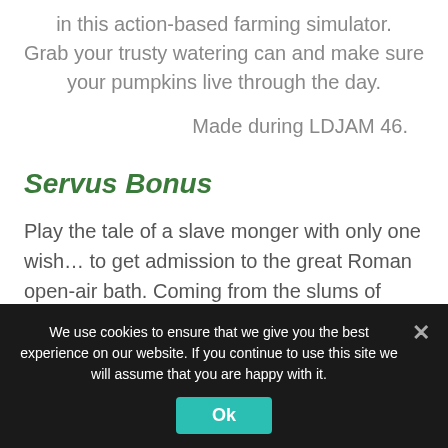in this action-based farming simulator. Grab your trusty watering can and make sure your pumpkins live through the day.
Made during LDJAM 46.
Servus Bonus
Play the tale of a slave monger with only one wish… to get admission to the great Roman open-air bath. Coming from the slums of Memphis, you have a long way of hardship before you. Gain respect by becoming the
We use cookies to ensure that we give you the best experience on our website. If you continue to use this site we will assume that you are happy with it.
Ok